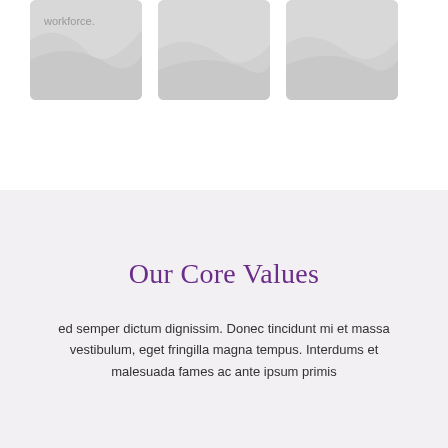[Figure (photo): Three light gray image placeholder boxes arranged in a row; the leftmost shows partial text 'workforce.']
Our Core Values
ed semper dictum dignissim. Donec tincidunt mi et massa vestibulum, eget fringilla magna tempus. Interdums et malesuada fames ac ante ipsum primis